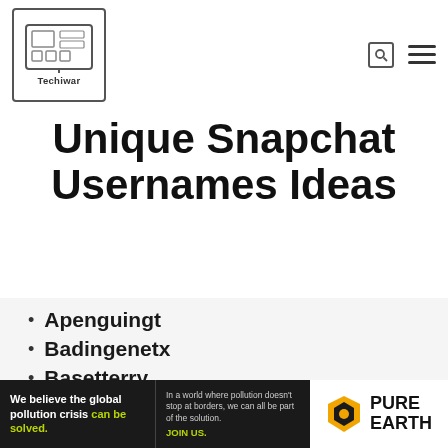Techiwar
Unique Snapchat Usernames Ideas
Apenguingt
Badingenetx
Basetterry
BelReady
AirFusion
Darvince
Black Hawk
Dolly Dolphin
Foolish Admin
[Figure (other): Pure Earth advertisement banner: 'We believe the global pollution crisis can be solved. In a world where pollution doesn't stop at borders, we can all be part of the solution. JOIN US. PURE EARTH']